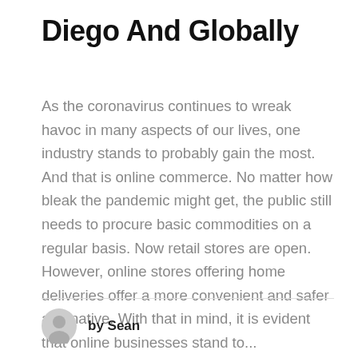Diego And Globally
As the coronavirus continues to wreak havoc in many aspects of our lives, one industry stands to probably gain the most. And that is online commerce. No matter how bleak the pandemic might get, the public still needs to procure basic commodities on a regular basis. Now retail stores are open. However, online stores offering home deliveries offer a more convenient and safer alternative. With that in mind, it is evident that online businesses stand to...
by Sean